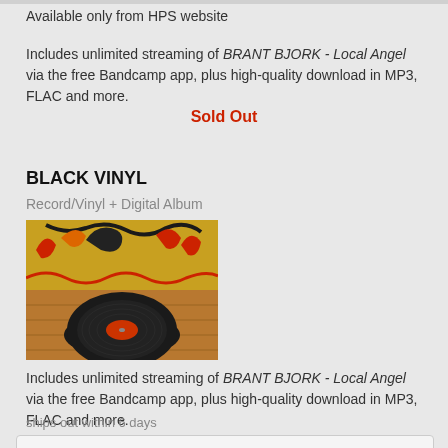Available only from HPS website
Includes unlimited streaming of BRANT BJORK - Local Angel via the free Bandcamp app, plus high-quality download in MP3, FLAC and more.
Sold Out
BLACK VINYL
Record/Vinyl + Digital Album
[Figure (photo): Album cover showing colorful artwork with dragon/flame design on top half and a black vinyl record on wooden surface below]
Includes unlimited streaming of BRANT BJORK - Local Angel via the free Bandcamp app, plus high-quality download in MP3, FLAC and more.
ships out within 6 days
Buy Record/Vinyl  €16.50 EUR or more